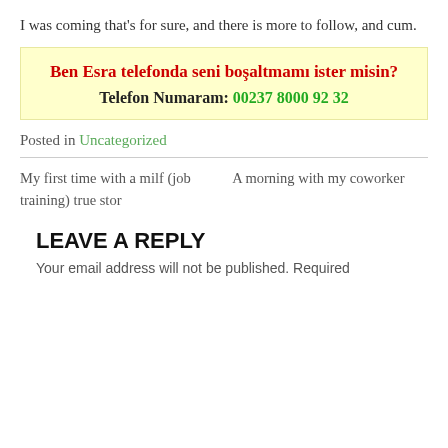I was coming that's for sure, and there is more to follow, and cum.
Ben Esra telefonda seni boşaltmamı ister misin?
Telefon Numaram: 00237 8000 92 32
Posted in Uncategorized
My first time with a milf (job training) true stor   A morning with my coworker
LEAVE A REPLY
Your email address will not be published. Required